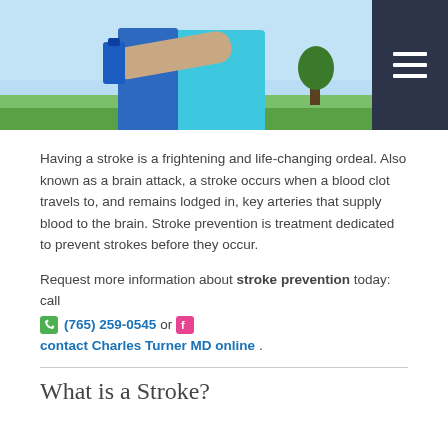[Figure (photo): Person in blue shirt holding a water bottle outdoors, with grass and sky in background. Navigation hamburger menu in dark navy top-right corner.]
Having a stroke is a frightening and life-changing ordeal. Also known as a brain attack, a stroke occurs when a blood clot travels to, and remains lodged in, key arteries that supply blood to the brain. Stroke prevention is treatment dedicated to prevent strokes before they occur.
Request more information about stroke prevention today: call (765) 259-0545 or contact Charles Turner MD online .
What is a Stroke?